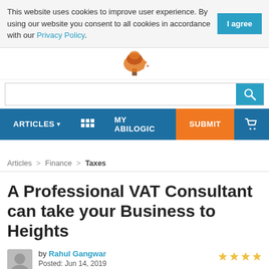This website uses cookies to improve user experience. By using our website you consent to all cookies in accordance with our Privacy Policy.
ARTICLES  :::  MY ABILOGIC  SUBMIT
Articles > Finance > Taxes
A Professional VAT Consultant can take your Business to Heights
by Rahul Gangwar
Posted: Jun 14, 2019